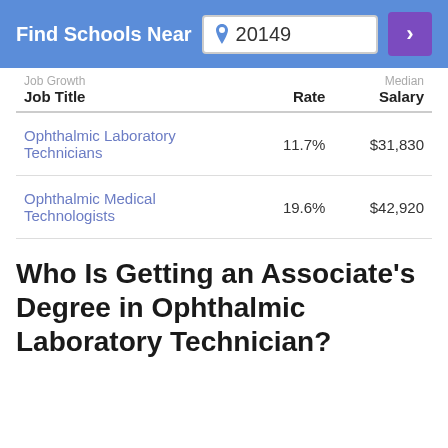Find Schools Near 20149
| Job Title | Job Growth Rate | Median Salary |
| --- | --- | --- |
| Ophthalmic Laboratory Technicians | 11.7% | $31,830 |
| Ophthalmic Medical Technologists | 19.6% | $42,920 |
Who Is Getting an Associate's Degree in Ophthalmic Laboratory Technician?